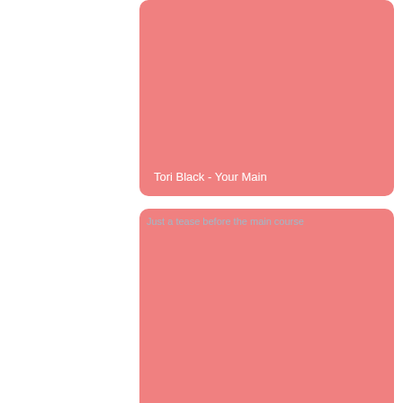[Figure (other): Pink card with title 'Tori Black - Your Main' in white text at bottom left]
[Figure (other): Pink card with broken image icon and alt text 'Just a tease before the main course', with white title text at bottom left]
[Figure (other): Pink card with broken image icon and alt text 'Quarantine sex']